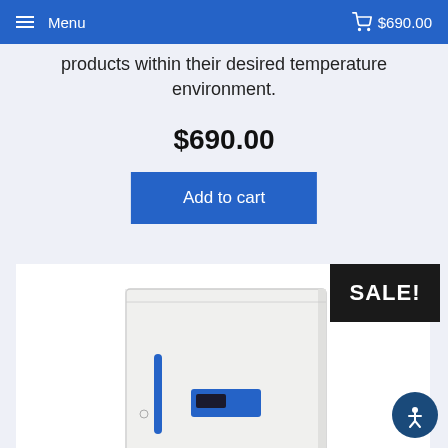Menu  $690.00
products within their desired temperature environment.
$690.00
Add to cart
[Figure (photo): Laboratory freezer/refrigerator unit with white body, blue handle and blue control panel on the door, with a SALE! badge overlay]
SALE!